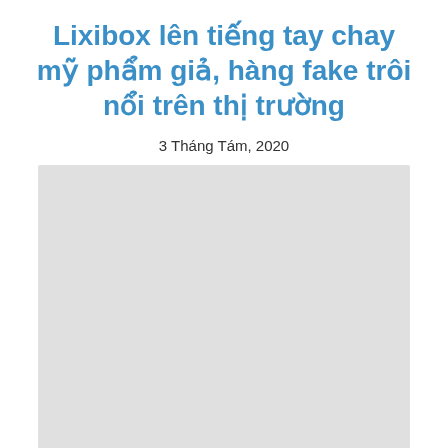Lixibox lên tiếng tay chay mỹ phẩm giả, hàng fake trôi nổi trên thị trường
3 Tháng Tám, 2020
[Figure (photo): A large light gray placeholder image area below the article date]